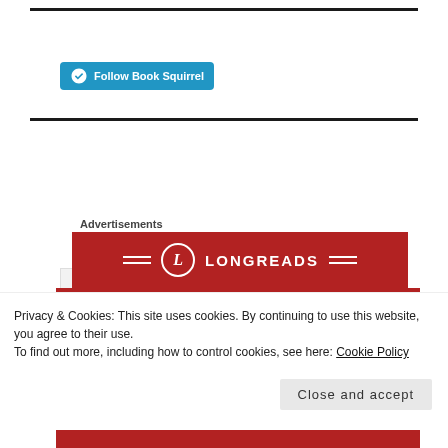[Figure (screenshot): WordPress Follow Book Squirrel button — cyan/blue rounded button with WordPress logo icon and text 'Follow Book Squirrel']
[Figure (screenshot): Search bar with text 'Search ...' and a black search icon button on the right]
Advertisements
[Figure (logo): Longreads logo on a dark red background with circle L icon and horizontal decorative lines]
Privacy & Cookies: This site uses cookies. By continuing to use this website, you agree to their use.
To find out more, including how to control cookies, see here: Cookie Policy
[Figure (screenshot): Close and accept button — light gray rounded rectangle button]